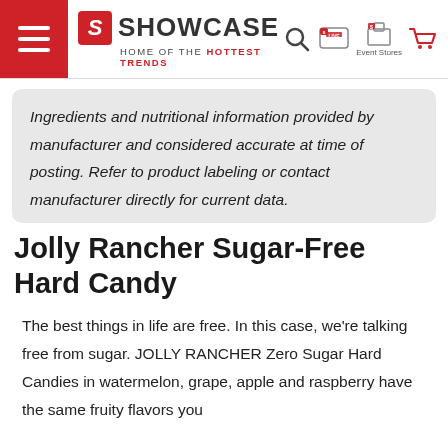Showcase – Home of the Hottest Trends
Ingredients and nutritional information provided by manufacturer and considered accurate at time of posting. Refer to product labeling or contact manufacturer directly for current data.
Jolly Rancher Sugar-Free Hard Candy
The best things in life are free. In this case, we're talking free from sugar. JOLLY RANCHER Zero Sugar Hard Candies in watermelon, grape, apple and raspberry have the same fruity flavors you